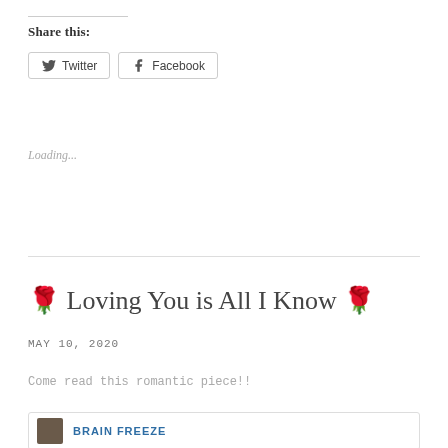Share this:
Twitter  Facebook
Loading...
🌹 Loving You is All I Know 🌹
MAY 10, 2020
Come read this romantic piece!!
BRAIN FREEZE